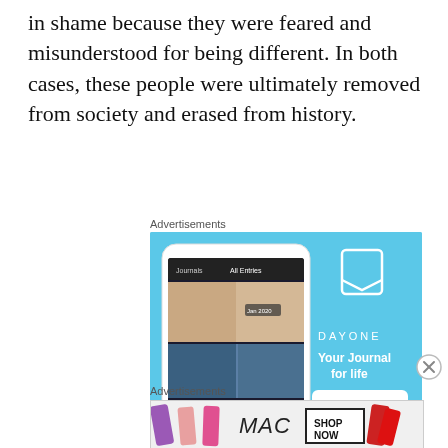in shame because they were feared and misunderstood for being different. In both cases, these people were ultimately removed from society and erased from history.
Advertisements
[Figure (screenshot): DayOne app advertisement on a light blue background showing a smartphone with journal app interface, a bookmark icon logo, text DAYONE, 'Your Journal for life', and a 'Get the app' button.]
Advertisements
[Figure (photo): MAC cosmetics advertisement showing lipsticks in purple, pink, and red tones, MAC logo text, and a 'SHOP NOW' box.]